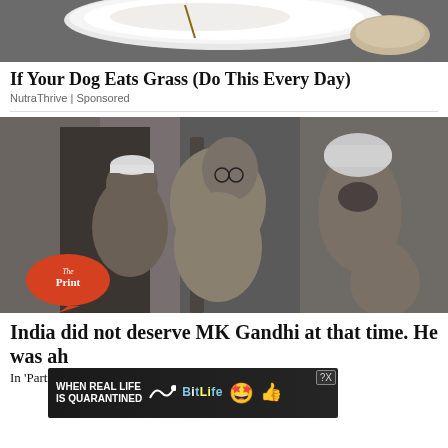[Figure (photo): Top advertisement showing a white bowl with white creamy content, a toothpick or stick, and what appears to be a food item on a dark surface]
If Your Dog Eats Grass (Do This Every Day)
NutraThrive | Sponsored
[Figure (photo): Black and white historical photograph showing Mahatma Gandhi (shirtless, wearing glasses) surrounded by several men including one wearing a white Gandhi cap and one wearing a Sikh turban. A 'The Print' logo watermark appears in the lower left corner.]
India did not deserve MK Gandhi at that time. He was ah
[Figure (infographic): Advertisement banner reading 'WHEN REAL LIFE IS QUARANTINED' with BitLife logo, emoji icons (star-eyes face and thumbs up with mask), and a close/help button in the top right]
In 'Partit                                                      ion of